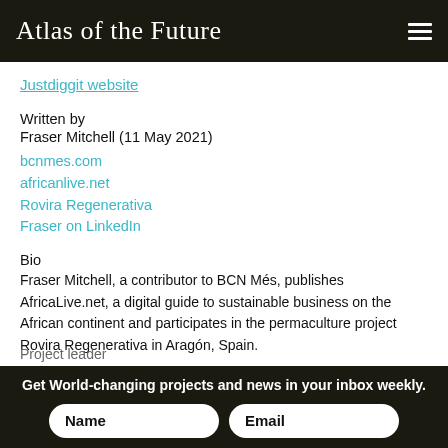Atlas of the Future
Justdiggit website
Written by
Fraser Mitchell (11 May 2021)
bcnmes.com
africanlive.net
Rovira Regenerativa
Fraser on LinkedIn
Bio
Fraser Mitchell, a contributor to BCN Més, publishes AfricaLive.net, a digital guide to sustainable business on the African continent and participates in the permaculture project Rovira Regenerativa in Aragón, Spain.
Project leader
Get World-changing projects and news in your inbox weekly.